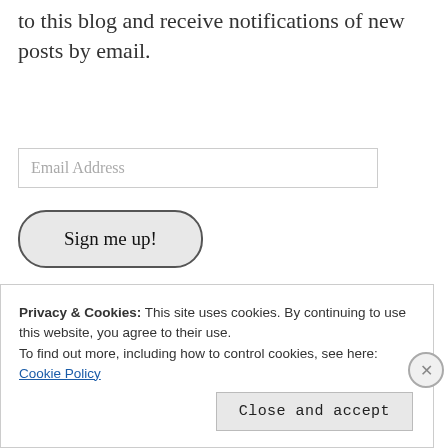to this blog and receive notifications of new posts by email.
[Figure (screenshot): Email Address input field with placeholder text]
[Figure (screenshot): Sign me up! button with rounded pill shape]
Join 263 other followers
Follow me on Twitter
Privacy & Cookies: This site uses cookies. By continuing to use this website, you agree to their use.
To find out more, including how to control cookies, see here: Cookie Policy
Close and accept